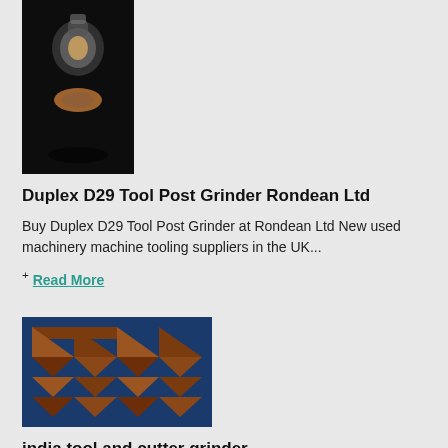[Figure (photo): A small glass jar or bottle with a copper/metallic fitting, photographed on a dark background.]
Duplex D29 Tool Post Grinder Rondean Ltd
Buy Duplex D29 Tool Post Grinder at Rondean Ltd New used machinery machine tooling suppliers in the UK...
+ Read More
[Figure (photo): A stack of metal angle iron / steel angle brackets arranged in alternating pattern, showing rust-colored zigzag pattern against a blue background.]
india tool and cutter grinder
Locate tool post grinder products, suppliers... HMT MTWelcome to